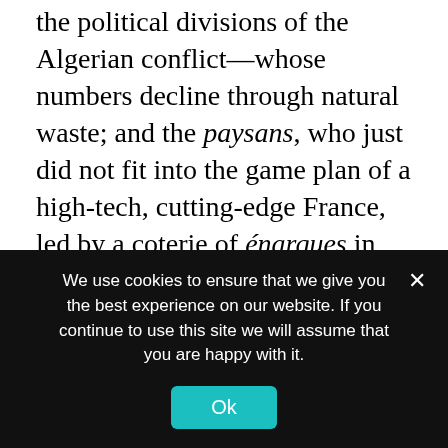the political divisions of the Algerian conflict—whose numbers decline through natural waste; and the paysans, who just did not fit into the game plan of a high-tech, cutting-edge France, led by a coterie of énarques in their gray suits and fast cars. Paysans were fine for tourism but were otherwise faintly embarrassing and distasteful. The Right assumed they could count on their conservatism, and the Left knew they were a lost cause.

There was a time when Bordeaux and Burgundy mocked the Languedoc-Roussillon, as
We use cookies to ensure that we give you the best experience on our website. If you continue to use this site we will assume that you are happy with it.